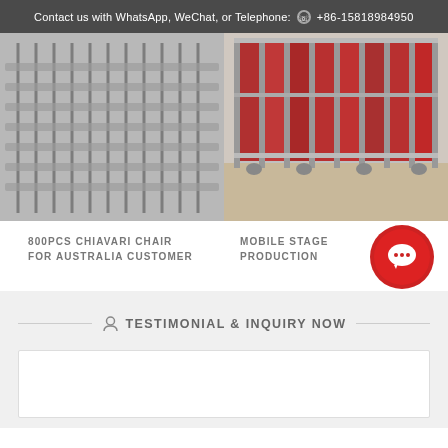Contact us with WhatsApp, WeChat, or Telephone:  +86-15818984950
[Figure (photo): Stacked metal Chiavari chairs in rows, black and white/grey tones]
[Figure (photo): Mobile stage production equipment, red fabric panels in metal frame rack]
800PCS CHIAVARI CHAIR FOR AUSTRALIA CUSTOMER
MOBILE STAGE PRODUCTION
[Figure (illustration): Red circular chat/message button icon]
TESTIMONIAL & INQUIRY NOW
[Figure (screenshot): White inquiry form box area]